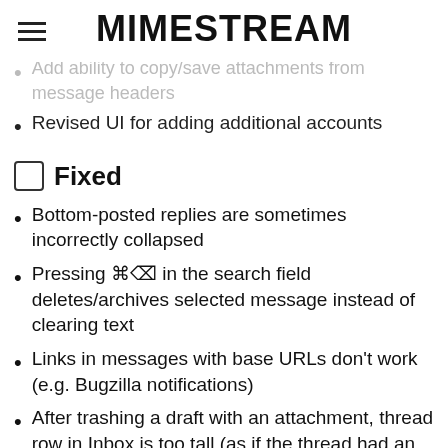MIMESTREAM
Add ability to copy/save attachments from message headers (faded/previous section)
Revised UI for adding additional accounts
Fixed
Bottom-posted replies are sometimes incorrectly collapsed
Pressing ⌘⌫ in the search field deletes/archives selected message instead of clearing text
Links in messages with base URLs don't work (e.g. Bugzilla notifications)
After trashing a draft with an attachment, thread row in Inbox is too tall (as if the thread had an attachment)
Video/Audio attachments can't be selected or dragged out